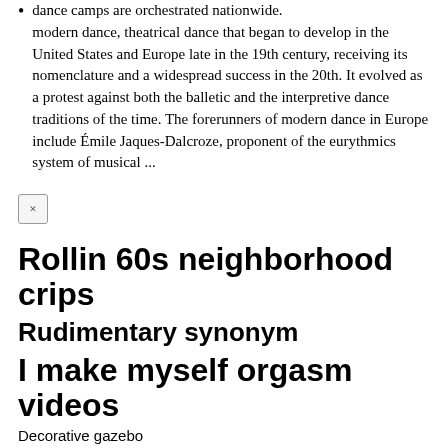modern dance, theatrical dance that began to develop in the United States and Europe late in the 19th century, receiving its nomenclature and a widespread success in the 20th. It evolved as a protest against both the balletic and the interpretive dance traditions of the time. The forerunners of modern dance in Europe include Émile Jaques-Dalcroze, proponent of the eurythmics system of musical ...
×
Rollin 60s neighborhood crips
Rudimentary synonym
I make myself orgasm videos
Decorative gazebo
Unity package manager error
Zumba blackpink